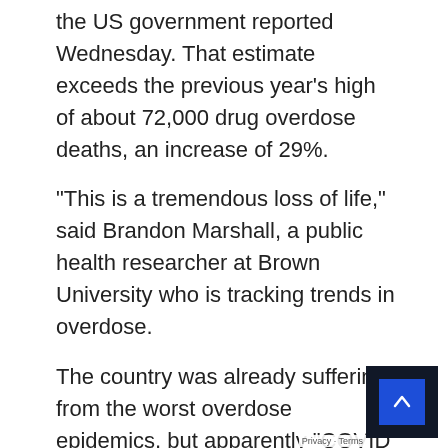the US government reported Wednesday. That estimate exceeds the previous year's high of about 72,000 drug overdose deaths, an increase of 29%.
“This is a tremendous loss of life,” said Brandon Marshall, a public health researcher at Brown University who is tracking trends in overdose.
The country was already suffering from the worst overdose epidemics, but apparently “COVID has greatly exacerbated the crisis,” he added. According to experts, blockades and other pandemic restrictions have made drug addicts isolated and difficult to treat. read more.
Two Indiana counties